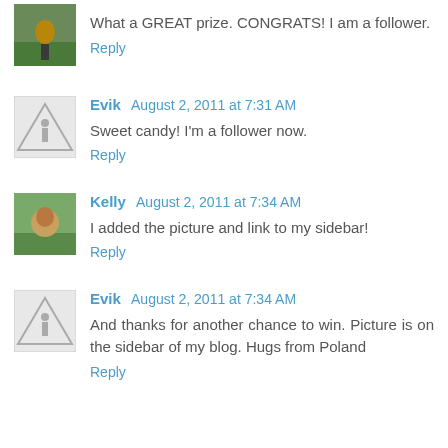[Figure (photo): Small avatar photo of a person outdoors]
What a GREAT prize. CONGRATS! I am a follower.
Reply
[Figure (illustration): Generic avatar placeholder with triangle/road sign icon]
Evik August 2, 2011 at 7:31 AM
Sweet candy! I'm a follower now.
Reply
[Figure (photo): Small avatar photo of a person/pet outdoors]
Kelly August 2, 2011 at 7:34 AM
I added the picture and link to my sidebar!
Reply
[Figure (illustration): Generic avatar placeholder with triangle/road sign icon]
Evik August 2, 2011 at 7:34 AM
And thanks for another chance to win. Picture is on the sidebar of my blog. Hugs from Poland
Reply